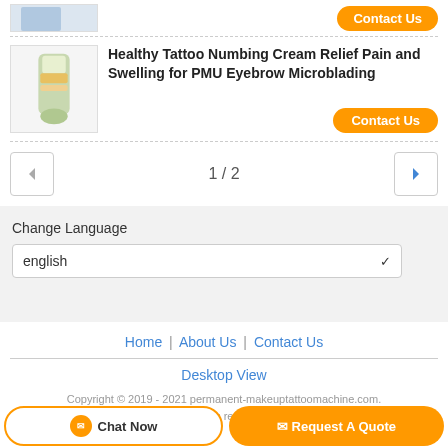[Figure (photo): Partial product image visible at top, cut off]
Contact Us
[Figure (photo): Small bottle product image for tattoo numbing cream]
Healthy Tattoo Numbing Cream Relief Pain and Swelling for PMU Eyebrow Microblading
Contact Us
1 / 2
Change Language
english
Home | About Us | Contact Us
Desktop View
Copyright © 2019 - 2021 permanent-makeuptattoomachine.com. All rights reserved.
Chat Now
Request A Quote